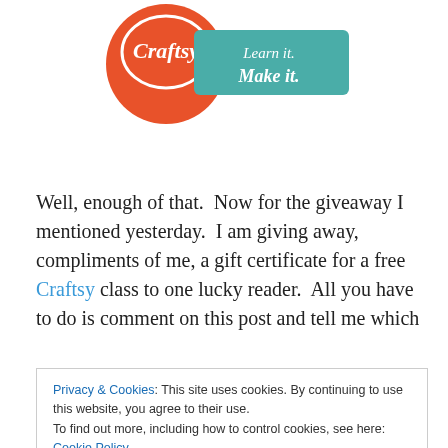[Figure (logo): Craftsy logo — orange circle with 'Craftsy' text in white script, alongside a teal banner reading 'Learn it. Make it.' in white]
Well, enough of that.  Now for the giveaway I mentioned yesterday.  I am giving away, compliments of me, a gift certificate for a free Craftsy class to one lucky reader.  All you have to do is comment on this post and tell me which
Privacy & Cookies: This site uses cookies. By continuing to use this website, you agree to their use.
To find out more, including how to control cookies, see here: Cookie Policy
Close and accept
video courses for many different crafts (baking, cake